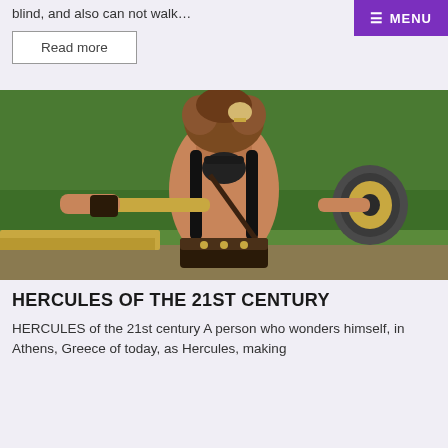blind, and also can not walk…
Read more
[Figure (photo): A man dressed as Hercules with a lion-skin headdress, red headband, long black hair, shirtless, holding a spear and shield, standing outdoors with green trees in the background.]
HERCULES OF THE 21ST CENTURY
HERCULES of the 21st century A person who wonders himself, in Athens, Greece of today, as Hercules, making